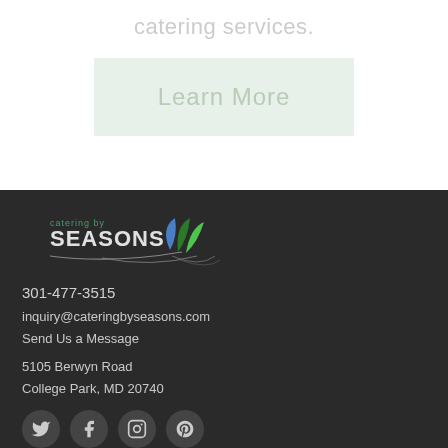catering services.
Learn More
[Figure (logo): Catering by Seasons logo with leaf motif and decorative swirl]
301-477-3515
inquiry@cateringbyseasons.com
Send Us a Message
5105 Berwyn Road
College Park, MD 20740
[Figure (illustration): Social media icons: Twitter, Facebook, Instagram, Pinterest]